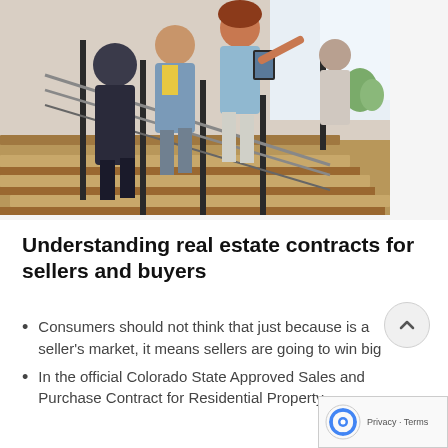[Figure (photo): Three people walking up a modern staircase with wooden steps and black metal railing, in a bright interior setting. One person carries a tablet/clipboard.]
Understanding real estate contracts for sellers and buyers
Consumers should not think that just because is a seller's market, it means sellers are going to win big
In the official Colorado State Approved Sales and Purchase Contract for Residential Property,